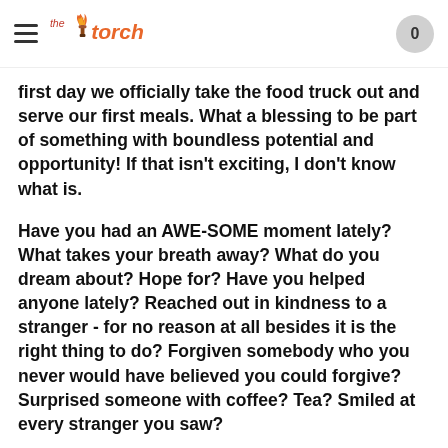the torch | 0
first day we officially take the food truck out and serve our first meals. What a blessing to be part of something with boundless potential and opportunity! If that isn't exciting, I don't know what is.
Have you had an AWE-SOME moment lately? What takes your breath away? What do you dream about? Hope for? Have you helped anyone lately? Reached out in kindness to a stranger - for no reason at all besides it is the right thing to do? Forgiven somebody who you never would have believed you could forgive? Surprised someone with coffee? Tea? Smiled at every stranger you saw?
I wonder... have you experienced life lately? Looked